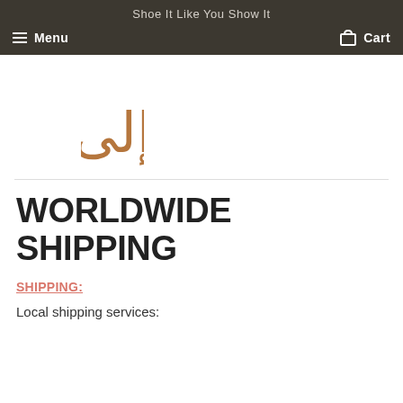Shoe It Like You Show It
Menu   Cart
[Figure (logo): Arabic calligraphic logo in brown/copper color]
WORLDWIDE SHIPPING
SHIPPING:
Local shipping services: